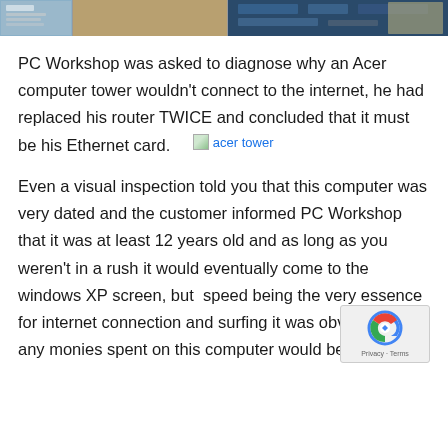[Figure (photo): Top banner image showing computer hardware components, partially cropped]
PC Workshop was asked to diagnose why an Acer computer tower wouldn't connect to the internet, he had replaced his router TWICE and concluded that it must be his Ethernet card.
[Figure (illustration): Small inline image placeholder labeled 'acer tower']
Even a visual inspection told you that this computer was very dated and the customer informed PC Workshop that it was at least 12 years old and as long as you weren't in a rush it would eventually come to the windows XP screen, but  speed being the very essence for internet connection and surfing it was obvious any monies spent on this computer would be a very